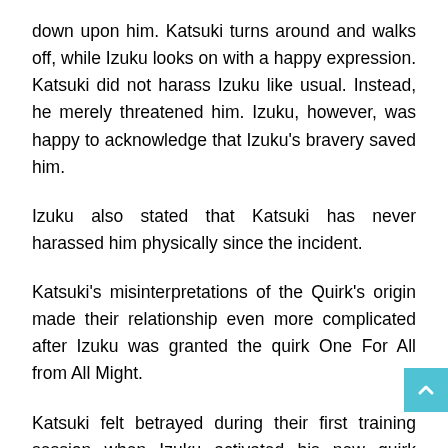down upon him. Katsuki turns around and walks off, while Izuku looks on with a happy expression. Katsuki did not harass Izuku like usual. Instead, he merely threatened him. Izuku, however, was happy to acknowledge that Izuku's bravery saved him.
Izuku also stated that Katsuki has never harassed him physically since the incident.
Katsuki's misinterpretations of the Quirk's origin made their relationship even more complicated after Izuku was granted the quirk One For All from All Might.
Katsuki felt betrayed during their first training session when Izuku activated his new quirk during the ball throwing portion. He believed that Izuku had kept his quirk secret since they were bakudeku kids. Aizawa had to restrain him as he charged